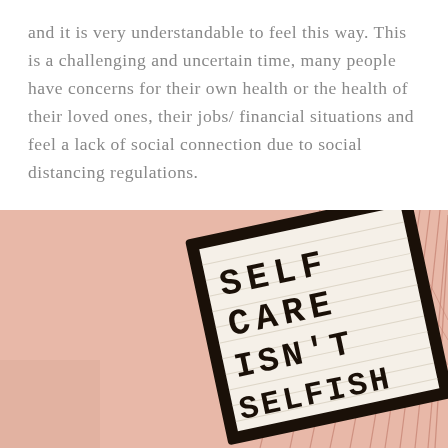and it is very understandable to feel this way. This is a challenging and uncertain time, many people have concerns for their own health or the health of their loved ones, their jobs/ financial situations and feel a lack of social connection due to social distancing regulations.
[Figure (photo): A photo of a letter board sign on a peach/salmon colored background with plant shadows. The sign reads: SELF CARE ISN'T SELFISH (partially visible), displayed in bold black capital letters on a striped white board with a black frame, tilted at an angle.]